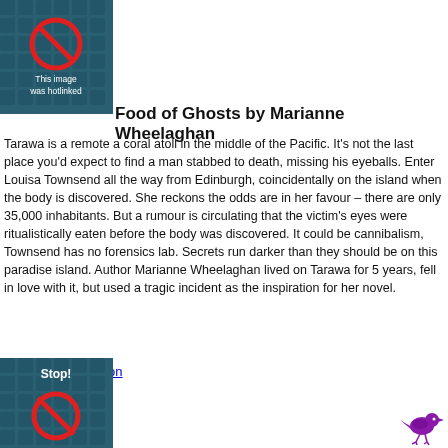[Figure (illustration): Book cover placeholder with teal/dark blue patterned background, a red circle-slash no symbol, and text 'This image was hotlinked']
Food of Ghosts by Marianne Wheelaghan
Tarawa is a remote a coral atoll in the middle of the Pacific. It's not the last place you'd expect to find a man stabbed to death, missing his eyeballs. Enter Louisa Townsend all the way from Edinburgh, coincidentally on the island when the body is discovered. She reckons the odds are in her favour – there are only 35,000 inhabitants. But a rumour is circulating that the victim's eyes were ritualistically eaten before the body was discovered. It could be cannibalism, Townsend has no forensics lab. Secrets run darker than they should be on this paradise island. Author Marianne Wheelaghan lived on Tarawa for 5 years, fell in love with it, but used a tragic incident as the inspiration for her novel.
Buy now on Amazon
[Figure (illustration): Book cover placeholder with teal/dark blue patterned background, bold white text 'Stop!' and a partial red circle-slash no symbol below]
[Figure (illustration): Small purple bird icon in bottom right corner]